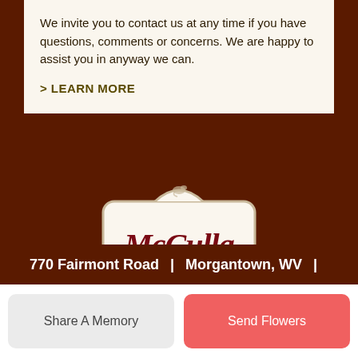We invite you to contact us at any time if you have questions, comments or concerns. We are happy to assist you in anyway we can.
> LEARN MORE
[Figure (logo): McCulla Funeral Home logo — cream colored rounded sign shape with dark red script 'McCulla' and block text 'FUNERAL HOME' beneath, with a small dove at top]
770 Fairmont Road | Morgantown, WV |
Share A Memory
Send Flowers